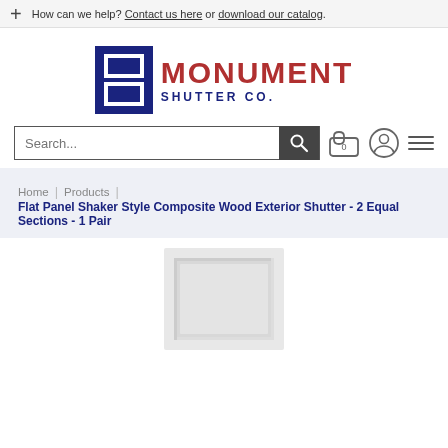How can we help? Contact us here or download our catalog.
[Figure (logo): Monument Shutter Co. logo with dark blue square icon containing two window panels and red MONUMENT text with dark blue SHUTTER CO. subtitle]
[Figure (screenshot): Search bar with search button, cart icon with 0 badge, user account icon, and hamburger menu icon]
Home | Products | Flat Panel Shaker Style Composite Wood Exterior Shutter - 2 Equal Sections - 1 Pair
[Figure (photo): White flat panel shaker style composite wood exterior shutter panel cropped at bottom of page]